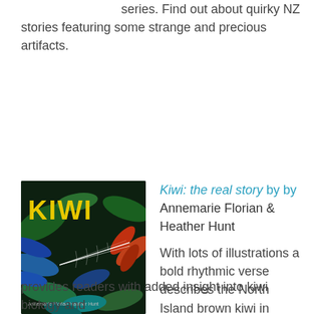series. Find out about quirky NZ stories featuring some strange and precious artifacts.
[Figure (illustration): Book cover of 'KIWI: the real story' with yellow title text on a dark jungle/forest background with colorful foliage and a kiwi feather illustration. Authors: Annemarie Florian & Heather Hunt.]
Kiwi: the real story by by Annemarie Florian & Heather Hunt

With lots of illustrations a bold rhythmic verse describes the North Island brown kiwi in action in the bush, and a non-fiction narrative provides readers with added insight into kiwi biology and
provides readers with added insight into kiwi biology and